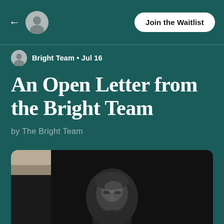← [avatar] Join the Waitlist
Bright Team • Jul 16
An Open Letter from the Bright Team
by The Bright Team
[Figure (photo): Black and white portrait photograph of a person, cropped, shown in the lower portion of the page with rounded top corners]